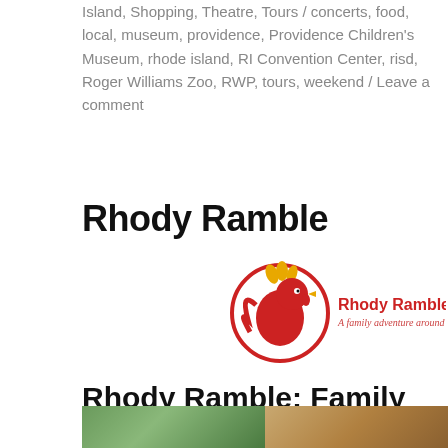Island, Shopping, Theatre, Tours / concerts, food, local, museum, providence, Providence Children's Museum, rhode island, RI Convention Center, risd, Roger Williams Zoo, RWP, tours, weekend / Leave a comment
Rhody Ramble
[Figure (logo): Rhody Ramble logo: a red rooster inside a red circle with text 'Rhody Ramble — A family adventure around Rhode Island']
Rhody Ramble: Family Adventures in Rhode Island!
[Figure (photo): Partial photo strip at bottom showing outdoor scenes — green foliage on the left and a warm-toned architectural or natural scene on the right]